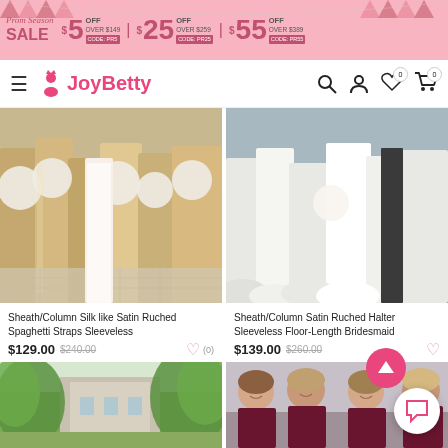Prom Season SALE $5 OFF OVER $149 CODE: PR5 | $25 OFF OVER $259 CODE: PR25 | $55 OFF OVER $389 CODE: PR55
JoyBetty
[Figure (photo): Bridesmaids in champagne/gold satin gowns holding bouquets]
[Figure (photo): Bridesmaids and bride in white/ivory gowns on outdoor steps]
Sheath/Column Silk like Satin Ruched Spaghetti Straps Sleeveless
$129.00  $240.00  (0)
Sheath/Column Satin Ruched Halter Sleeveless Floor-Length Bridesmaid
$139.00  $260.00
[Figure (photo): Garden/outdoor venue with green trees]
[Figure (photo): Group of smiling bridesmaids in dark wine/burgundy dresses]